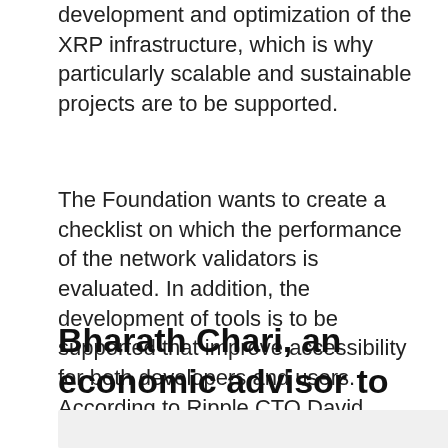development and optimization of the XRP infrastructure, which is why particularly scalable and sustainable projects are to be supported.
The Foundation wants to create a checklist on which the performance of the network validators is evaluated. In addition, the development of tools is to be supported that improve accessibility for both developers and users. According to Ripple CTO David Schwartz, the board of directors of the XRP Ledger Foundation is made up of many familiar faces of the XRP ecosystem, including XRPL developer Wietse Wind.
Bharath Chari, an economic advisor to XRP Ledger, said: